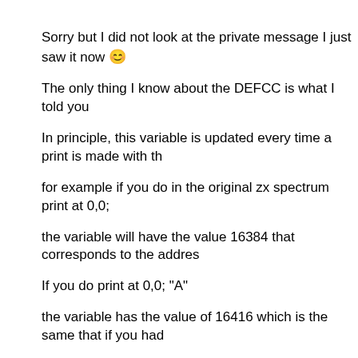Sorry but I did not look at the private message I just saw it now 😊
The only thing I know about the DEFCC is what I told you
In principle, this variable is updated every time a print is made with th
for example if you do in the original zx spectrum  print at 0,0;
the variable will have the value 16384 that corresponds to the addres
If you do print at 0,0; "A"
the variable has the value of 16416 which is the same that if you had
that is, it is the first address of the next byte where the cursor is  beca
the variable points to the next first address of the down char
If you do it with any other address, it updates the same.
The variable will point to the first address where it will start printing ne